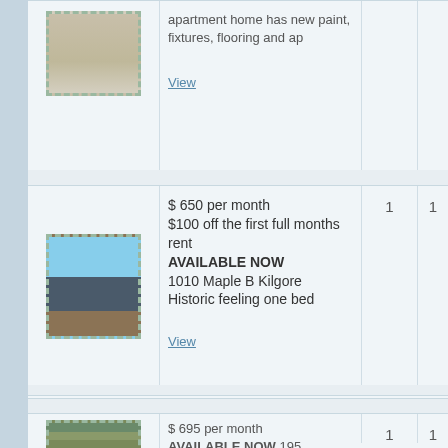apartment home has new paint, fixtures, flooring and ap
View
$ 650 per month $100 off the first full months rent AVAILABLE NOW 1010 Maple B Kilgore Historic feeling one bed
View
$ 695 per month AVAILABLE TO SHOW IN MID OCTOBER 3025 B Bernice Pine Tree!!! Cute duplex located in the northwest
View
$ 695 per month AVAILABLE NOW 195
AVAILABLE NOW 195